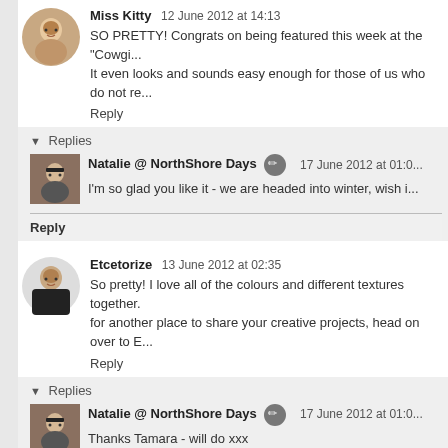Miss Kitty  12 June 2012 at 14:13
SO PRETTY! Congrats on being featured this week at the "Cowgi... It even looks and sounds easy enough for those of us who do not re...
Reply
Replies
Natalie @ NorthShore Days  17 June 2012 at 01:0...
I'm so glad you like it - we are headed into winter, wish i...
Reply
Etcetorize  13 June 2012 at 02:35
So pretty! I love all of the colours and different textures together. for another place to share your creative projects, head on over to E...
Reply
Replies
Natalie @ NorthShore Days  17 June 2012 at 01:0...
Thanks Tamara - will do xxx